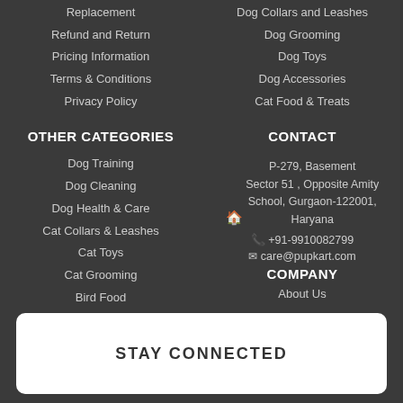Replacement
Dog Collars and Leashes
Refund and Return
Dog Grooming
Pricing Information
Dog Toys
Terms & Conditions
Dog Accessories
Privacy Policy
Cat Food & Treats
OTHER CATEGORIES
CONTACT
Dog Training
P-279, Basement Sector 51 , Opposite Amity School, Gurgaon-122001, Haryana
Dog Cleaning
+91-9910082799
Dog Health & Care
care@pupkart.com
Cat Collars & Leashes
COMPANY
Cat Toys
About Us
Cat Grooming
Bird Food
STAY CONNECTED